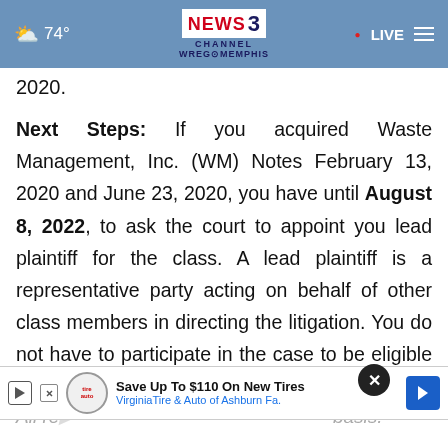74° NEWS3 CHANNEL WREG MEMPHIS • LIVE
2020.
Next Steps: If you acquired Waste Management, Inc. (WM) Notes February 13, 2020 and June 23, 2020, you have until August 8, 2022, to ask the court to appoint you lead plaintiff for the class. A lead plaintiff is a representative party acting on behalf of other class members in directing the litigation. You do not have to participate in the case to be eligible for a recovery.
[Figure (screenshot): Advertisement banner: Save Up To $110 On New Tires - Virginia Tire & Auto of Ashburn Fa.]
All re... basis.